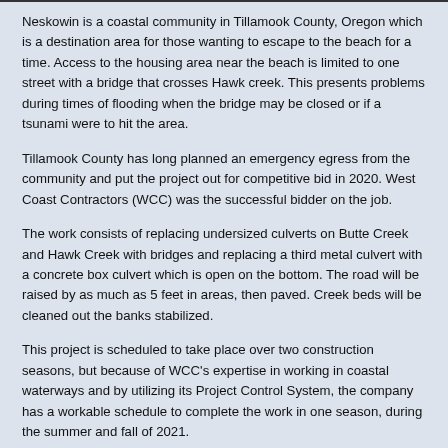Neskowin is a coastal community in Tillamook County, Oregon which is a destination area for those wanting to escape to the beach for a time. Access to the housing area near the beach is limited to one street with a bridge that crosses Hawk creek. This presents problems during times of flooding when the bridge may be closed or if a tsunami were to hit the area.
Tillamook County has long planned an emergency egress from the community and put the project out for competitive bid in 2020. West Coast Contractors (WCC) was the successful bidder on the job.
The work consists of replacing undersized culverts on Butte Creek and Hawk Creek with bridges and replacing a third metal culvert with a concrete box culvert which is open on the bottom. The road will be raised by as much as 5 feet in areas, then paved. Creek beds will be cleaned out the banks stabilized.
This project is scheduled to take place over two construction seasons, but because of WCC's expertise in working in coastal waterways and by utilizing its Project Control System, the company has a workable schedule to complete the work in one season, during the summer and fall of 2021.
As this is an ecologically fragile area, WCC needs to take extra precaution to prevent damage during construction. Luckily, the company is well versed in building structures in sensitive areas and protecting the environment.